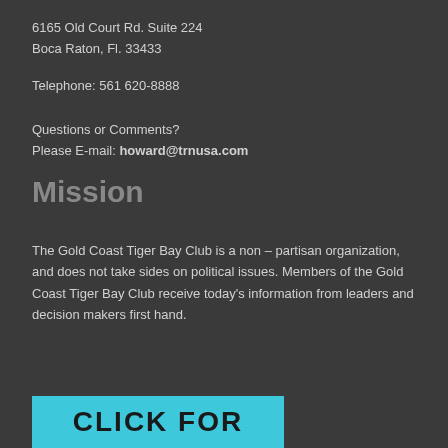6165 Old Court Rd. Suite 224
Boca Raton, Fl. 33433
Telephone: 561 620-8888
Questions or Comments?
Please E-mail: howard@trnusa.com
Mission
The Gold Coast Tiger Bay Club is a non – partisan organization, and does not take sides on political issues. Members of the Gold Coast Tiger Bay Club receive today's information from leaders and decision makers first hand.
[Figure (other): Cyan banner with bold dark text reading CLICK FOR]